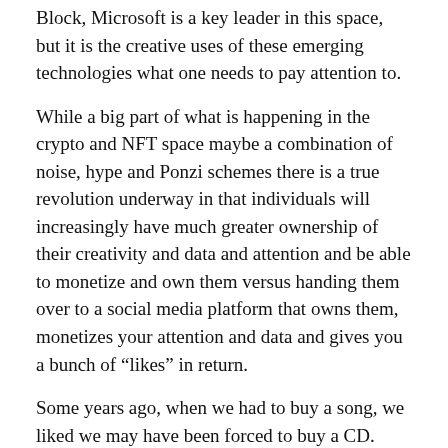Block, Microsoft is a key leader in this space, but it is the creative uses of these emerging technologies what one needs to pay attention to.
While a big part of what is happening in the crypto and NFT space maybe a combination of noise, hype and Ponzi schemes there is a true revolution underway in that individuals will increasingly have much greater ownership of their creativity and data and attention and be able to monetize and own them versus handing them over to a social media platform that owns them, monetizes your attention and data and gives you a bunch of “likes” in return.
Some years ago, when we had to buy a song, we liked we may have been forced to buy a CD. Then we could buy the song itself from the Apple or Google store. Then we could access any song we wanted from Spotify or Tidal